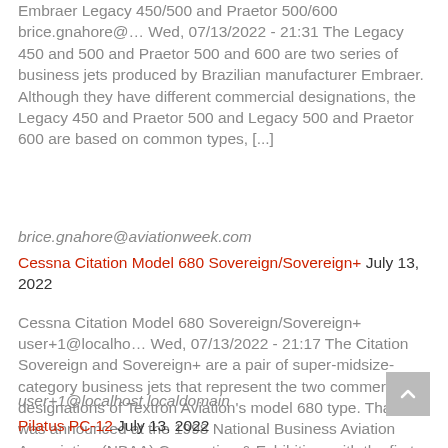Embraer Legacy 450/500 and Praetor 500/600 brice.gnahore@… Wed, 07/13/2022 - 21:31 The Legacy 450 and 500 and Praetor 500 and 600 are two series of business jets produced by Brazilian manufacturer Embraer. Although they have different commercial designations, the Legacy 450 and Praetor 500 and Legacy 500 and Praetor 600 are based on common types, [...]
brice.gnahore@aviationweek.com
Cessna Citation Model 680 Sovereign/Sovereign+ July 13, 2022
Cessna Citation Model 680 Sovereign/Sovereign+ user+1@localho… Wed, 07/13/2022 - 21:17 The Citation Sovereign and Sovereign+ are a pair of super-midsize-category business jets that represent the two commercial designations of Textron Aviation's model 680 type. That type was announced at the 1998 National Business Aviation Association (NBAA) Convention & Exhibition, with the first flight of the [...]
user+1@localhost.localdomain
Pilatus PC-12 July 13, 2022